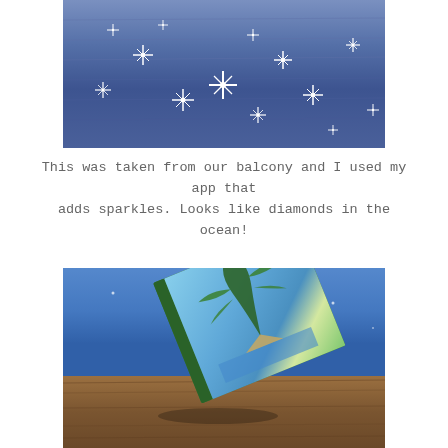[Figure (photo): Ocean water surface photographed from a balcony with a sparkle filter applied, making the sunlight reflections look like bright white stars or diamonds scattered across the dark blue water.]
This was taken from our balcony and I used my app that adds sparkles. Looks like diamonds in the ocean!
[Figure (photo): A book with a tropical beach cover (showing palm trees and a beach hut against a blue sky) resting on what appears to be a wooden surface, with the blue ocean visible in the background and a few faint sparkles in the sky.]